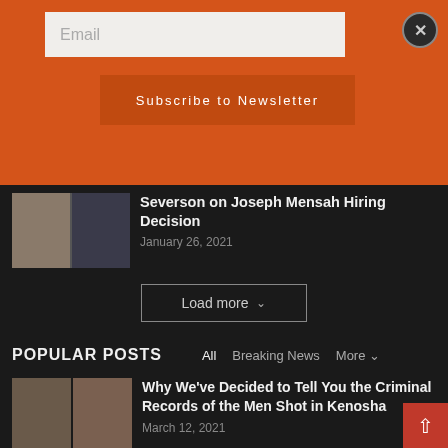[Figure (screenshot): Newsletter subscription banner with email input and Subscribe to Newsletter button on orange background with X close button]
[Figure (photo): Two people in police/official uniforms thumbnail]
Severson on Joseph Mensah Hiring Decision
January 26, 2021
Load more
POPULAR POSTS
All   Breaking News   More
[Figure (photo): Two men photo thumbnails for Kenosha article]
Why We've Decided to Tell You the Criminal Records of the Men Shot in Kenosha
March 12, 2021
[Figure (photo): Two men photo thumbnails for Joseph Rosenbaum article]
Joseph Rosenbaum: Sex Offender 2002 Arizona Criminal Complaint